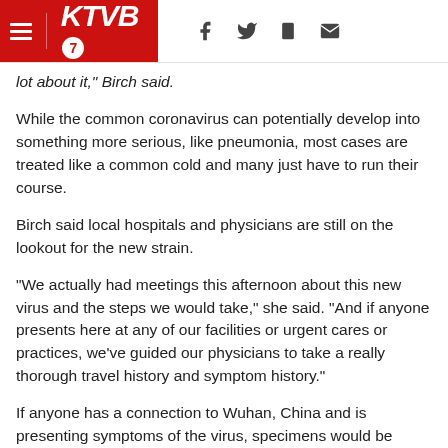KTVB7 — navigation header with hamburger menu and social icons
lot about it," Birch said.
While the common coronavirus can potentially develop into something more serious, like pneumonia, most cases are treated like a common cold and many just have to run their course.
Birch said local hospitals and physicians are still on the lookout for the new strain.
“We actually had meetings this afternoon about this new virus and the steps we would take,” she said. “And if anyone presents here at any of our facilities or urgent cares or practices, we’ve guided our physicians to take a really thorough travel history and symptom history.”
If anyone has a connection to Wuhan, China and is presenting symptoms of the virus, specimens would be collected from the patient and sent to the CDC for testing.